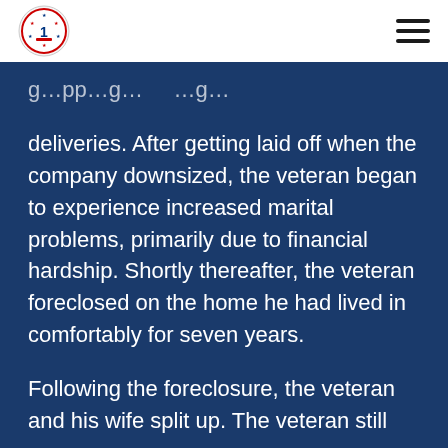[Logo] [Navigation menu]
…g…pp…g… …g… deliveries. After getting laid off when the company downsized, the veteran began to experience increased marital problems, primarily due to financial hardship. Shortly thereafter, the veteran foreclosed on the home he had lived in comfortably for seven years.

Following the foreclosure, the veteran and his wife split up. The veteran still…